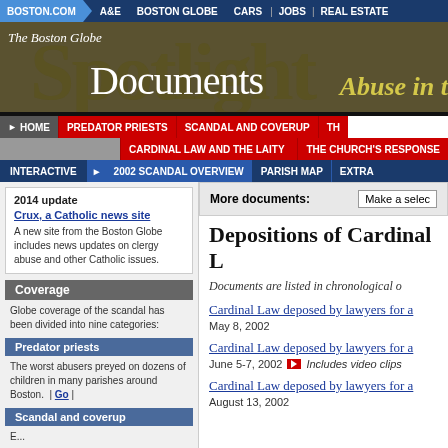BOSTON.COM | A&E | BOSTON GLOBE | CARS | JOBS | REAL ESTATE
[Figure (screenshot): The Boston Globe Spotlight - Documents - Abuse in t... banner header]
HOME | PREDATOR PRIESTS | SCANDAL AND COVERUP | TH... | CARDINAL LAW AND THE LAITY | THE CHURCH'S RESPONSE | INTERACTIVE | 2002 SCANDAL OVERVIEW | PARISH MAP | EXTRA
2014 update
Crux, a Catholic news site
A new site from the Boston Globe includes news updates on clergy abuse and other Catholic issues.
Coverage
Globe coverage of the scandal has been divided into nine categories:
Predator priests
The worst abusers preyed on dozens of children in many parishes around Boston.  | Go |
Scandal and coverup
More documents:
Depositions of Cardinal L...
Documents are listed in chronological o...
Cardinal Law deposed by lawyers for a...
May 8, 2002
Cardinal Law deposed by lawyers for a...
June 5-7, 2002  Includes video clips
Cardinal Law deposed by lawyers for a...
August 13, 2002